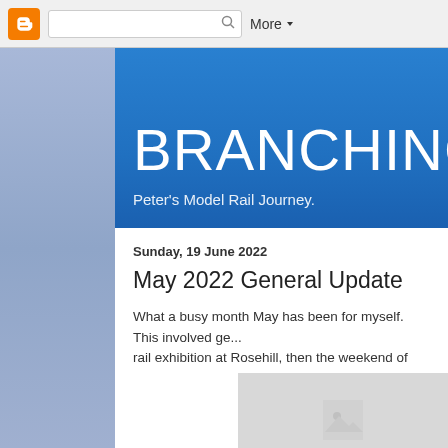Blogger navigation bar with search and More button
BRANCHING
Peter's Model Rail Journey.
Sunday, 19 June 2022
May 2022 General Update
What a busy month May has been for myself. This involved ge... rail exhibition at Rosehill, then the weekend of Exhibiting Narell... doing a quick trip down to Albury to check out the Model Rail ex...
[Figure (photo): Partial photo at bottom of page, appears to show a model railway scene, mostly cropped]